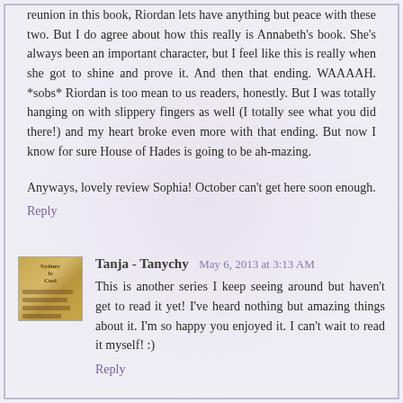reunion in this book, Riordan lets have anything but peace with these two. But I do agree about how this really is Annabeth's book. She's always been an important character, but I feel like this is really when she got to shine and prove it. And then that ending. WAAAAH. *sobs* Riordan is too mean to us readers, honestly. But I was totally hanging on with slippery fingers as well (I totally see what you did there!) and my heart broke even more with that ending. But now I know for sure House of Hades is going to be ah-mazing.
Anyways, lovely review Sophia! October can't get here soon enough.
Reply
Tanja - Tanychy  May 6, 2013 at 3:13 AM
This is another series I keep seeing around but haven't get to read it yet! I've heard nothing but amazing things about it. I'm so happy you enjoyed it. I can't wait to read it myself! :)
Reply